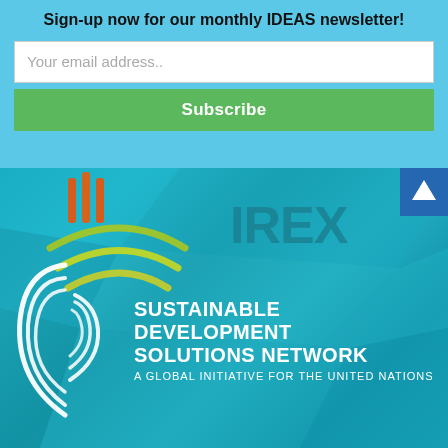Sign-up now for our monthly IDEAS newsletter!
Your email address..
Subscribe
[Figure (logo): Colorful wifi/signal arc logo (orange, red, green arcs) and IREX text logo on teal polygonal background]
[Figure (logo): Sustainable Development Solutions Network logo - white circular arc rings with text: SUSTAINABLE DEVELOPMENT SOLUTIONS NETWORK - A GLOBAL INITIATIVE FOR THE UNITED NATIONS]